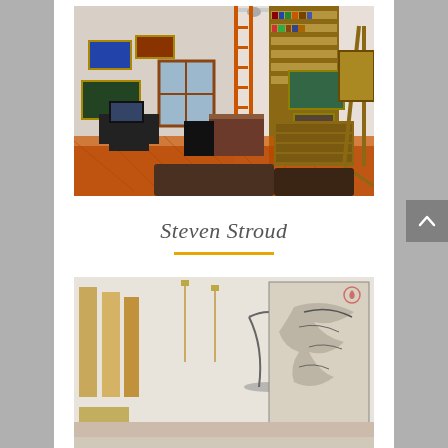[Figure (photo): Artist studio interior with paintings on walls, easels, bookshelves, desk with computer, wooden floors, track lighting on high ceiling]
Steven Stroud
[Figure (photo): Art studio space showing wooden panels, canvas with bird/eagle artwork, white walls with hung artwork]